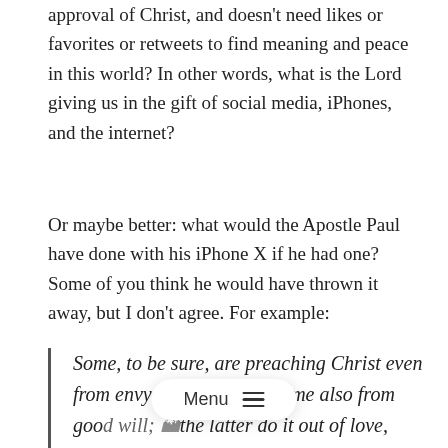approval of Christ, and doesn't need likes or favorites or retweets to find meaning and peace in this world? In other words, what is the Lord giving us in the gift of social media, iPhones, and the internet?
Or maybe better: what would the Apostle Paul have done with his iPhone X if he had one? Some of you think he would have thrown it away, but I don't agree. For example:
Some, to be sure, are preaching Christ even from envy and strife, but some also from good will; the latter do it out of love, k[nowing] I am appointed for the defense of the